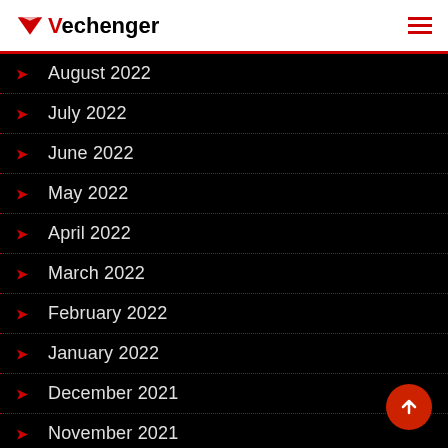Vechenger
August 2022
July 2022
June 2022
May 2022
April 2022
March 2022
February 2022
January 2022
December 2021
November 2021
October 2021
September 2021
August 2021